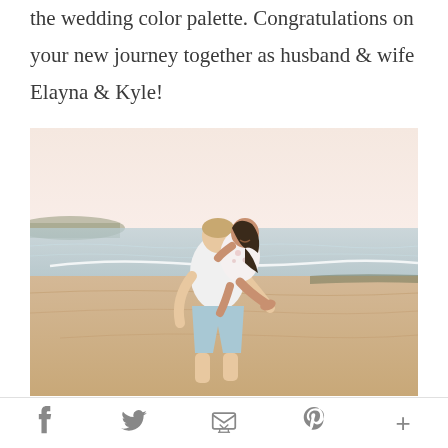the wedding color palette. Congratulations on your new journey together as husband & wife Elayna & Kyle!
[Figure (photo): A couple embracing on a sandy beach at sunset. A man in a white shirt and light blue shorts lifts a woman in a white dress with floral detailing. The woman has long dark hair and is smiling. Ocean and coastline visible in the background with a warm pastel sky.]
f   [twitter bird]   [email envelope]   p   +